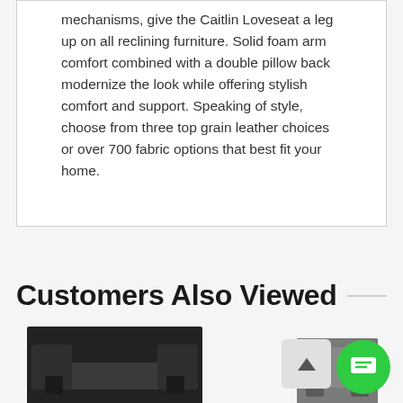mechanisms, give the Caitlin Loveseat a leg up on all reclining furniture. Solid foam arm comfort combined with a double pillow back modernize the look while offering stylish comfort and support. Speaking of style, choose from three top grain leather choices or over 700 fabric options that best fit your home.
Customers Also Viewed
[Figure (photo): Dark brown/black leather loveseat or sofa product photo, bottom portion visible]
[Figure (photo): Gray upholstered chair or sofa product photo, bottom portion visible]